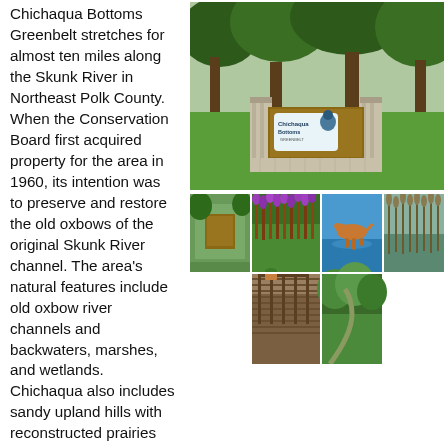Chichaqua Bottoms Greenbelt stretches for almost ten miles along the Skunk River in Northeast Polk County. When the Conservation Board first acquired property for the area in 1960, its intention was to preserve and restore the old oxbows of the original Skunk River channel. The area's natural features include old oxbow river channels and backwaters, marshes, and wetlands. Chichaqua also includes sandy upland hills with reconstructed prairies and native prairie remnants.
[Figure (photo): Entrance sign for Chichaqua Bottoms Greenbelt surrounded by large trees and green lawn]
[Figure (photo): Collage of six photos: park sign, purple wildflower field, dog jumping into water, wetland reeds, wooden boardwalk, and green shrub trail]